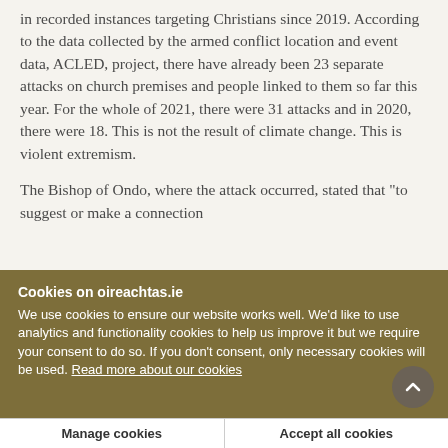in recorded instances targeting Christians since 2019. According to the data collected by the armed conflict location and event data, ACLED, project, there have already been 23 separate attacks on church premises and people linked to them so far this year. For the whole of 2021, there were 31 attacks and in 2020, there were 18. This is not the result of climate change. This is violent extremism.
The Bishop of Ondo, where the attack occurred, stated that "to suggest or make a connection
Cookies on oireachtas.ie
We use cookies to ensure our website works well. We'd like to use analytics and functionality cookies to help us improve it but we require your consent to do so. If you don't consent, only necessary cookies will be used. Read more about our cookies
Manage cookies
Accept all cookies